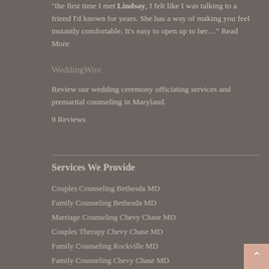"the first time I met Lindsay, I felt like I was talking to a friend I'd known for years. She has a way of making you feel instantly comfortable. It's easy to open up to her..." Read More
WeddingWire
Review our wedding ceremony officiating services and premarital counseling in Maryland.
9 Reviews
Services We Provide
Couples Counseling Bethesda MD
Family Counseling Bethesda MD
Marriage Counseling Chevy Chase MD
Couples Therapy Chevy Chase MD
Family Counseling Rockville MD
Family Counseling Chevy Chase MD
Couples Therapy Washington DC